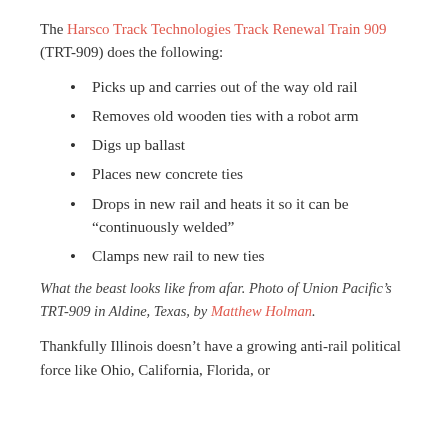The Harsco Track Technologies Track Renewal Train 909 (TRT-909) does the following:
Picks up and carries out of the way old rail
Removes old wooden ties with a robot arm
Digs up ballast
Places new concrete ties
Drops in new rail and heats it so it can be “continuously welded”
Clamps new rail to new ties
What the beast looks like from afar. Photo of Union Pacific’s TRT-909 in Aldine, Texas, by Matthew Holman.
Thankfully Illinois doesn’t have a growing anti-rail political force like Ohio, California, Florida, or